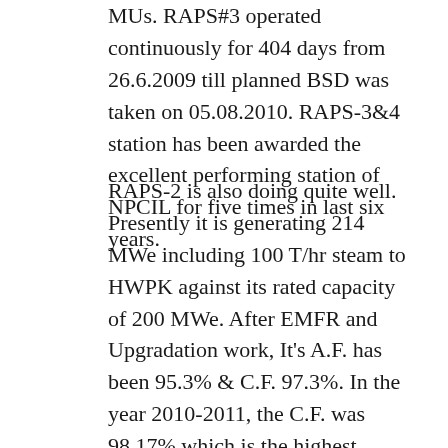MUs. RAPS#3 operated continuously for 404 days from 26.6.2009 till planned BSD was taken on 05.08.2010. RAPS-3&4 station has been awarded the excellent performing station of NPCIL for five times in last six years.
RAPS-2 is also doing quite well. Presently it is generating 214 MWe including 100 T/hr steam to HWPK against its rated capacity of 200 MWe. After EMFR and Upgradation work, It's A.F. has been 95.3% & C.F. 97.3%. In the year 2010-2011, the C.F. was 98.17% which is the highest among all units. It generated 1720 MU against the target of 1394 MU. The earlier highest annual generation was 1479.5 MU in the year 1988-89. In the current year, its C.F. & A.F. are 106.7% and 100% respectively so far. On 16th of July this year, it had broken its previous record of continuous